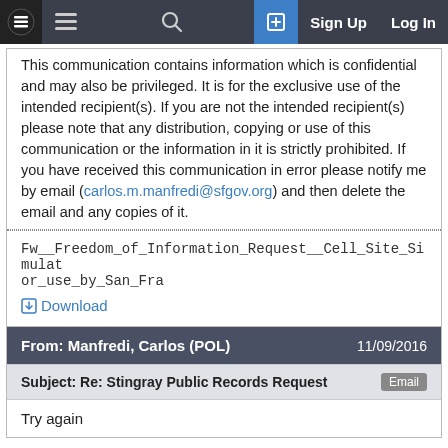Sign Up | Log In
This communication contains information which is confidential and may also be privileged. It is for the exclusive use of the intended recipient(s). If you are not the intended recipient(s) please note that any distribution, copying or use of this communication or the information in it is strictly prohibited. If you have received this communication in error please notify me by email (carlos.m.manfredi@sfgov.org) and then delete the email and any copies of it.
Fw__Freedom_of_Information_Request__Cell_Site_Simulator_use_by_San_Fra
Download
| From: Manfredi, Carlos (POL) | 11/09/2016 |
| --- | --- |
| Subject: Re: Stingray Public Records Request | Email |
| Try again |  |
Try again